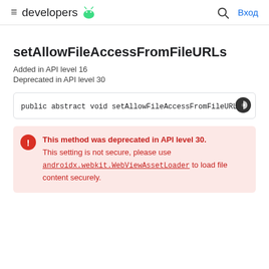≡ developers 🤖 🔍 Вход
setAllowFileAccessFromFileURLs
Added in API level 16
Deprecated in API level 30
public abstract void setAllowFileAccessFromFileURLs
This method was deprecated in API level 30. This setting is not secure, please use androidx.webkit.WebViewAssetLoader to load file content securely.